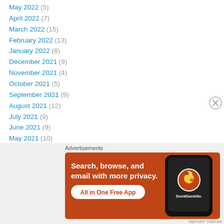May 2022 (5)
April 2022 (7)
March 2022 (15)
February 2022 (13)
January 2022 (8)
December 2021 (9)
November 2021 (4)
October 2021 (5)
September 2021 (9)
August 2021 (12)
July 2021 (9)
June 2021 (9)
May 2021 (10)
April 2021 (6)
[Figure (screenshot): DuckDuckGo advertisement banner: orange background with text 'Search, browse, and email with more privacy. All in One Free App' with phone showing DuckDuckGo logo]